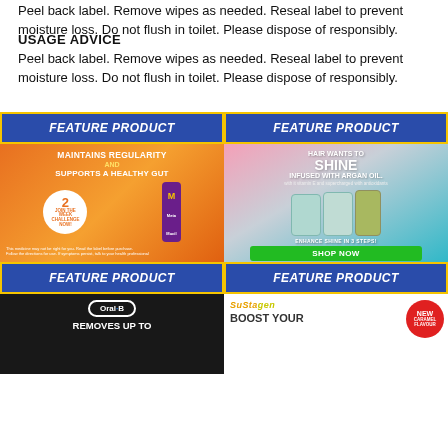Peel back label. Remove wipes as needed. Reseal label to prevent moisture loss. Do not flush in toilet. Please dispose of responsibly.
USAGE ADVICE
Peel back label. Remove wipes as needed. Reseal label to prevent moisture loss. Do not flush in toilet. Please dispose of responsibly.
[Figure (infographic): Feature Product banner - orange ad for Meta Mucil: MAINTAINS REGULARITY AND SUPPORTS A HEALTHY GUT, 2 Week Challenge Now, with disclaimer text]
[Figure (infographic): Feature Product banner - pink/teal ad for OGX hair product: HAIR WANTS TO SHINE INFUSED WITH ARGAN OIL, ENHANCE SHINE IN 3 STEPS, SHOP NOW button]
[Figure (infographic): Feature Product banner - Oral-B: REMOVES UP TO...]
[Figure (infographic): Feature Product banner - Sustagen: BOOST YOUR... NEW CARAMEL FLAVOUR]